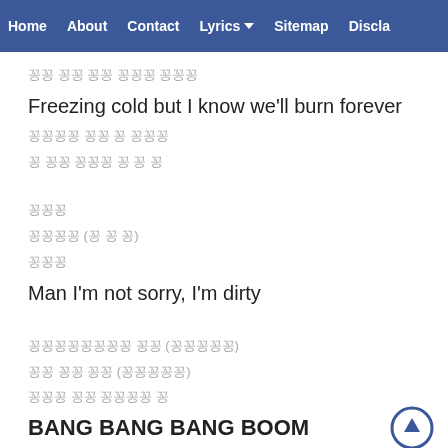Home | About | Contact | Lyrics | Sitemap | Discla…
꽁꽁 꽁꽁 꽁꽁 꽁꽁꽁 꽁꽁꽁
Freezing cold but I know we'll burn forever
꽁꽁꽁꽁 꽁꽁 꽁 꽁꽁꽁
꽁 꽁꽁 꽁꽁꽁 꽁 꽁 꽁
꽁꽁꽁
꽁꽁꽁꽁 (꽁 꽁 꽁)
꽁꽁꽁
Man I'm not sorry, I'm dirty
꽁꽁꽁꽁꽁꽁꽁꽁 꽁꽁 (꽁꽁꽁꽁꽁)
꽁꽁 꽁꽁 꽁꽁 (꽁꽁꽁꽁꽁)
꽁꽁꽁 꽁꽁 꽁꽁꽁꽁 꽁
BANG BANG BANG BOOM